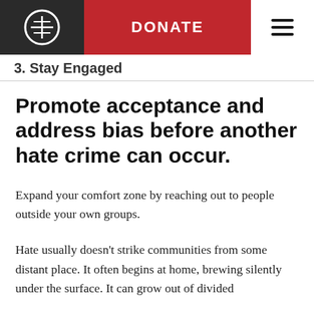DONATE
3. Stay Engaged
Promote acceptance and address bias before another hate crime can occur.
Expand your comfort zone by reaching out to people outside your own groups.
Hate usually doesn’t strike communities from some distant place. It often begins at home, brewing silently under the surface. It can grow out of divided